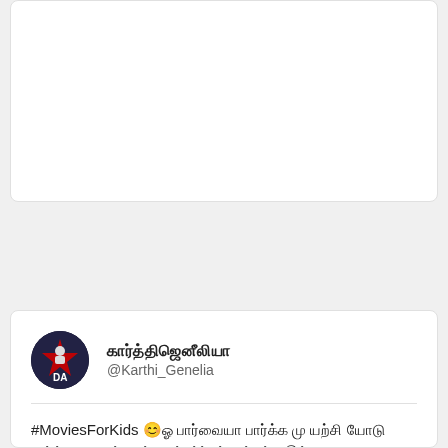[Figure (screenshot): Top portion of a tweet card, cropped, showing mostly white space]
Read 192 tweets
கார்த்திஜெனீலியா @Karthi_Genelia
#MoviesForKids 😊ஓ பார்வையா பார்க்க மு யற்சி யோடு பார்த்தே னேன். ஓத்த சந்தர்ப்பம் கிட்டல்ல இல்லாத #IMDb லலித் திரு மட ல் குத்தகை நேற்று. ஓர் குத்தகை ஓரு குத்தகை ஓ! குத்தகையினால் குத்தகையி (🔗) tamilyogi[dot]cafe siteல் கட்டணமின்றி தேடுகிறார்கள்.🙏 #KarthiReviews